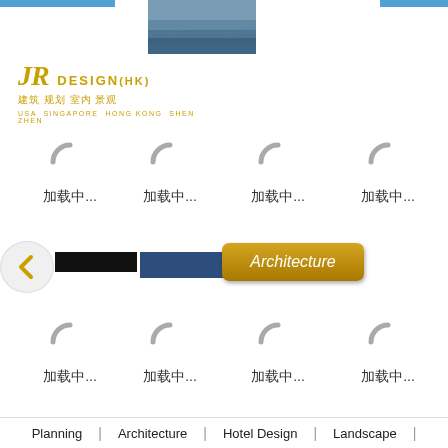[Figure (screenshot): JR Design (HK) website screenshot showing logo, navigation, loading spinners with Chinese text '加载中...', Architecture button, and footer navigation with Planning, Architecture, Hotel Design, Landscape]
加载中...
加载中...
加载中...
加载中...
Architecture
加载中...
加载中...
加载中...
加载中...
Planning | Architecture | Hotel Design | Landscape